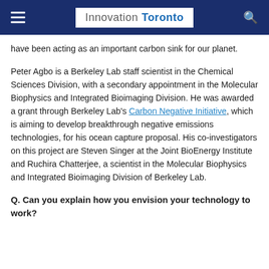Innovation Toronto
have been acting as an important carbon sink for our planet.
Peter Agbo is a Berkeley Lab staff scientist in the Chemical Sciences Division, with a secondary appointment in the Molecular Biophysics and Integrated Bioimaging Division. He was awarded a grant through Berkeley Lab's Carbon Negative Initiative, which is aiming to develop breakthrough negative emissions technologies, for his ocean capture proposal. His co-investigators on this project are Steven Singer at the Joint BioEnergy Institute and Ruchira Chatterjee, a scientist in the Molecular Biophysics and Integrated Bioimaging Division of Berkeley Lab.
Q. Can you explain how you envision your technology to work?